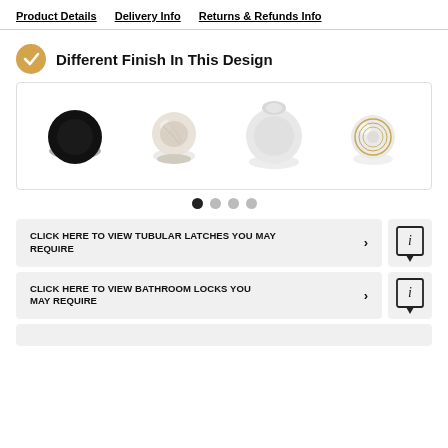Product Details  Delivery Info  Returns & Refunds Info
Different Finish In This Design
[Figure (photo): Four door knobs in different finishes: matte black, marble/stone, white, and white with gold ring detail]
Carousel navigation dots: 4 dots, first active
CLICK HERE TO VIEW TUBULAR LATCHES YOU MAY REQUIRE
CLICK HERE TO VIEW BATHROOM LOCKS YOU MAY REQUIRE